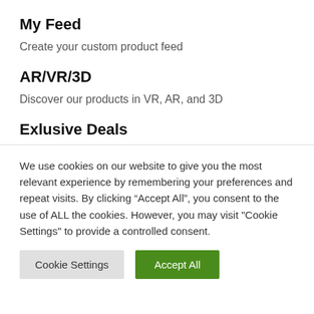My Feed
Create your custom product feed
AR/VR/3D
Discover our products in VR, AR, and 3D
Exlusive Deals
We use cookies on our website to give you the most relevant experience by remembering your preferences and repeat visits. By clicking “Accept All”, you consent to the use of ALL the cookies. However, you may visit "Cookie Settings" to provide a controlled consent.